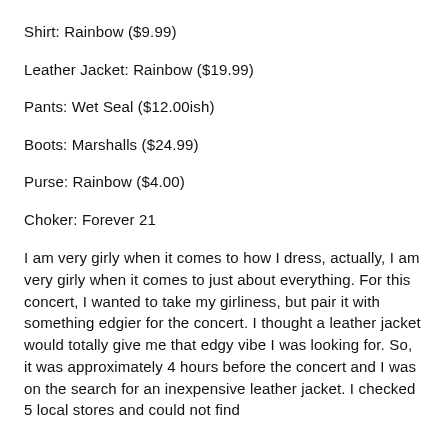Shirt: Rainbow ($9.99)
Leather Jacket: Rainbow ($19.99)
Pants: Wet Seal ($12.00ish)
Boots: Marshalls ($24.99)
Purse: Rainbow ($4.00)
Choker: Forever 21
I am very girly when it comes to how I dress, actually, I am very girly when it comes to just about everything. For this concert, I wanted to take my girliness, but pair it with something edgier for the concert. I thought a leather jacket would totally give me that edgy vibe I was looking for. So, it was approximately 4 hours before the concert and I was on the search for an inexpensive leather jacket. I checked 5 local stores and could not find